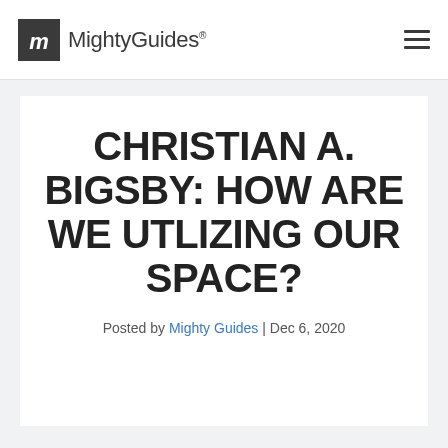Mighty Guides®
CHRISTIAN A. BIGSBY: HOW ARE WE UTLIZING OUR SPACE?
Posted by Mighty Guides | Dec 6, 2020